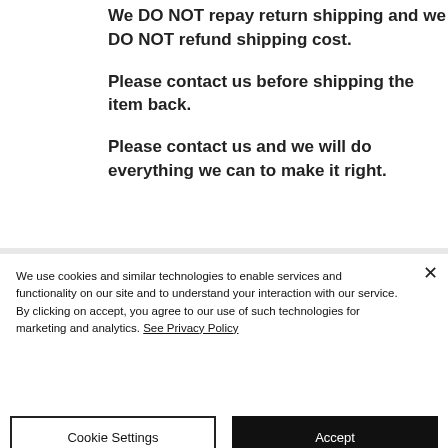We DO NOT repay return shipping and we DO NOT refund shipping cost.
Please contact us before shipping the item back.
Please contact us and we will do everything we can to make it right.
We use cookies and similar technologies to enable services and functionality on our site and to understand your interaction with our service. By clicking on accept, you agree to our use of such technologies for marketing and analytics. See Privacy Policy
Cookie Settings
Accept